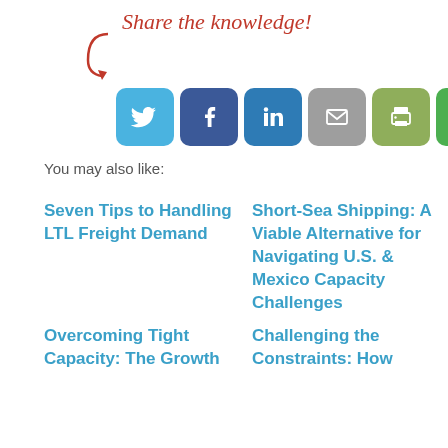[Figure (infographic): Share the knowledge! social media sharing buttons: Twitter, Facebook, LinkedIn, Email, Print, Refresh/Share]
You may also like:
Seven Tips to Handling LTL Freight Demand
Short-Sea Shipping: A Viable Alternative for Navigating U.S. & Mexico Capacity Challenges
Overcoming Tight Capacity: The Growth
Challenging the Constraints: How